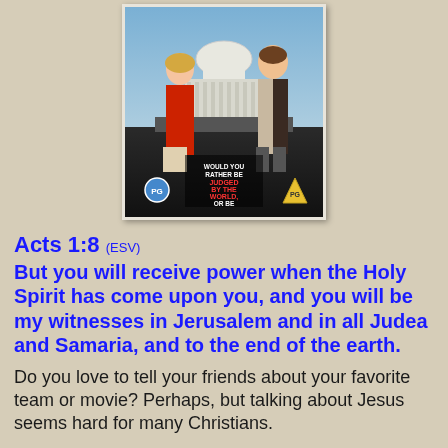[Figure (photo): DVD cover image showing a man and woman in front of a government building, with text 'WOULD YOU RATHER BE JUDGED BY THE WORLD, OR BE JUDGED BY GOD?' and PG rating badges]
Acts 1:8 (ESV)
But you will receive power when the Holy Spirit has come upon you, and you will be my witnesses in Jerusalem and in all Judea and Samaria, and to the end of the earth.
Do you love to tell your friends about your favorite team or movie? Perhaps, but talking about Jesus seems hard for many Christians.